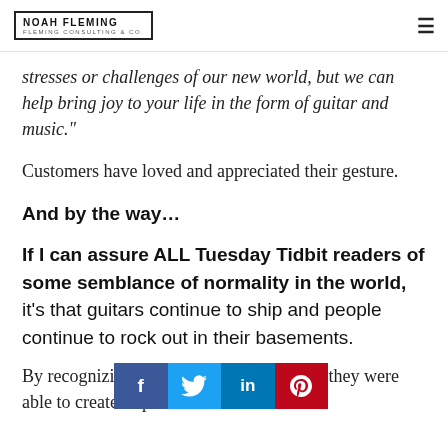NOAH FLEMING | FLEMING CONSULTING & CO.
stresses or challenges of our new world, but we can help bring joy to your life in the form of guitar and music."
Customers have loved and appreciated their gesture.
And by the way…
If I can assure ALL Tuesday Tidbit readers of some semblance of normality in the world, it's that guitars continue to ship and people continue to rock out in their basements.
By recognizing [social bar] to add value, they were able to create a special offer that made it